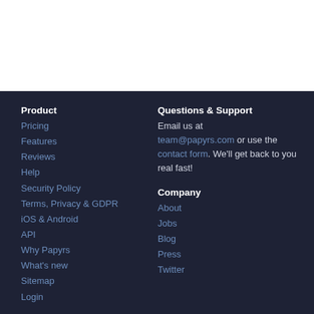Product
Pricing
Features
Reviews
Help
Security Policy
Terms, Privacy & GDPR
iOS & Android
API
Why Papyrs
What's new
Sitemap
Login
Questions & Support
Email us at team@papyrs.com or use the contact form. We'll get back to you real fast!
Company
About
Jobs
Blog
Press
Twitter